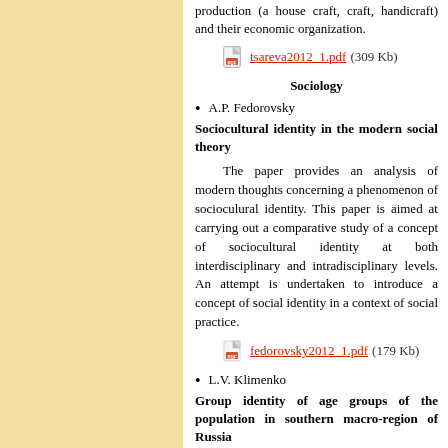production (a house craft, craft, handicraft) and their economic organization.
tsareva2012_1.pdf (309 Kb)
Sociology
A.P. Fedorovsky
Sociocultural identity in the modern social theory
The paper provides an analysis of modern thoughts concerning a phenomenon of socioculural identity. This paper is aimed at carrying out a comparative study of a concept of sociocultural identity at both interdisciplinary and intradisciplinary levels. An attempt is undertaken to introduce a concept of social identity in a context of social practice.
fedorovsky2012_1.pdf (179 Kb)
L.V. Klimenko
Group identity of age groups of the population in southern macro-region of Russia